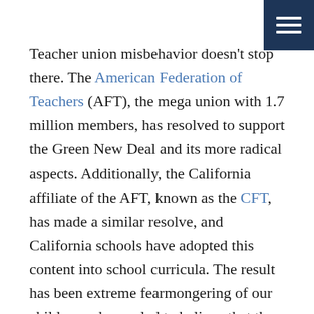[Figure (other): Dark navy blue navigation menu icon (hamburger menu) in top-right corner]
Teacher union misbehavior doesn't stop there. The American Federation of Teachers (AFT), the mega union with 1.7 million members, has resolved to support the Green New Deal and its more radical aspects. Additionally, the California affiliate of the AFT, known as the CFT, has made a similar resolve, and California schools have adopted this content into school curricula. The result has been extreme fearmongering of our children, who are led to believe that the earth and all our lives are in imminent danger due to climate change.